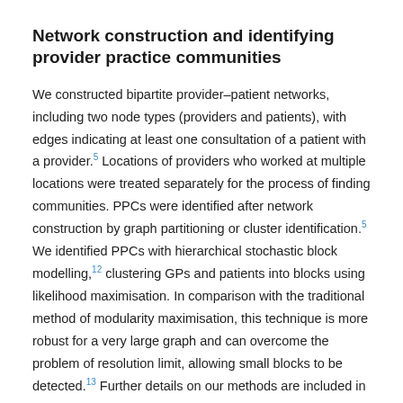Network construction and identifying provider practice communities
We constructed bipartite provider–patient networks, including two node types (providers and patients), with edges indicating at least one consultation of a patient with a provider.5 Locations of providers who worked at multiple locations were treated separately for the process of finding communities. PPCs were identified after network construction by graph partitioning or cluster identification.5 We identified PPCs with hierarchical stochastic block modelling,12 clustering GPs and patients into blocks using likelihood maximisation. In comparison with the traditional method of modularity maximisation, this technique is more robust for a very large graph and can overcome the problem of resolution limit, allowing small blocks to be detected.13 Further details on our methods are included in the online Appendix.